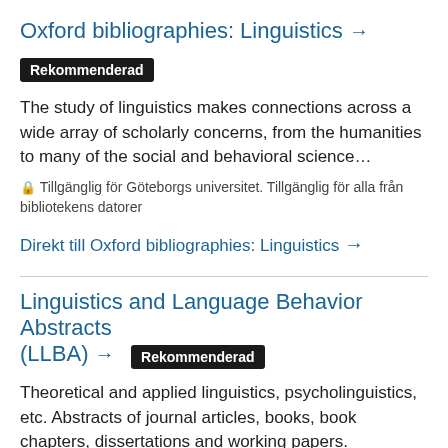Oxford bibliographies: Linguistics →
Rekommenderad
The study of linguistics makes connections across a wide array of scholarly concerns, from the humanities to many of the social and behavioral science…
🔒 Tillgänglig för Göteborgs universitet. Tillgänglig för alla från bibliotekens datorer
Direkt till Oxford bibliographies: Linguistics →
Linguistics and Language Behavior Abstracts (LLBA) → Rekommenderad
Theoretical and applied linguistics, psycholinguistics, etc. Abstracts of journal articles, books, book chapters, dissertations and working papers.
🔒 Tillgänglig för Göteborgs universitet. Tillgänglig för alla från